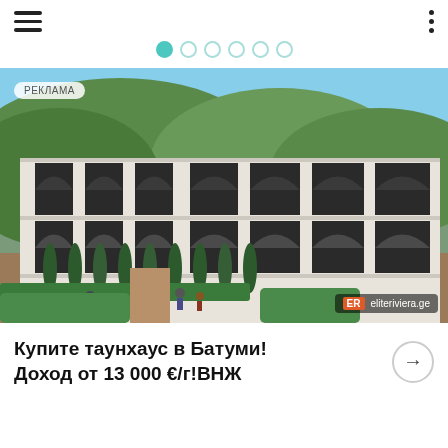Navigation header with hamburger menu and dots menu
[Figure (illustration): Row of navigation dots/circles in teal color, one active]
[Figure (photo): Aerial/perspective view of a luxury townhouse complex with Gothic arched windows, white facade, dark window frames, surrounded by cypress trees and hedges, mountains in background. Badge 'РЕКЛАМА' in top-left. ER eliteriviera.ge logo in bottom-right.]
Купите таунхаус в Батуми! Доход от 13 000 €/г!ВНЖ